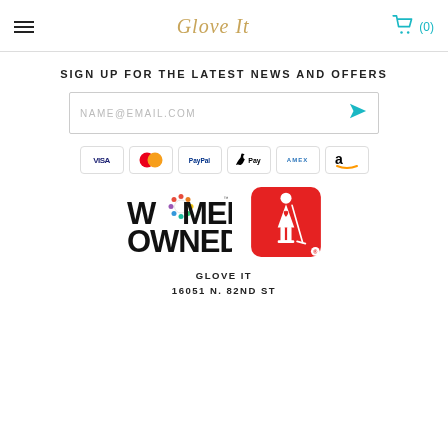Glove It | (0)
SIGN UP FOR THE LATEST NEWS AND OFFERS
[Figure (screenshot): Email signup input box with placeholder text NAME@EMAIL.COM and a teal send/paper-plane icon button]
[Figure (infographic): Row of payment method badges: Visa, Mastercard, PayPal, Apple Pay, Amex, Amazon]
[Figure (logo): Women Owned logo with colorful flower/circle replacing the O, and a women golfer badge icon on red square background]
GLOVE IT
16051 N. 82ND ST